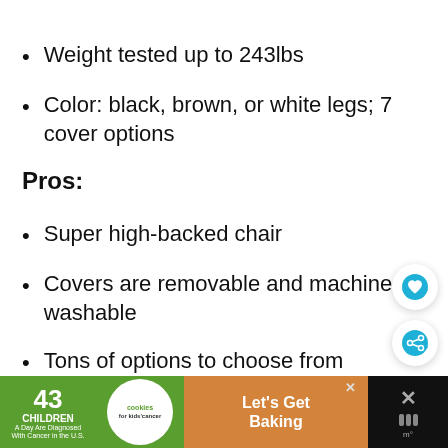Weight tested up to 243lbs
Color: black, brown, or white legs; 7 cover options
Pros:
Super high-backed chair
Covers are removable and machine washable
Tons of options to choose from
[Figure (screenshot): Advertisement banner: '43 CHILDREN A Day Are Diagnosed With Cancer in the U.S.' with cookies for kids' cancer logo and 'Let's Get Baking' text on orange/green background]